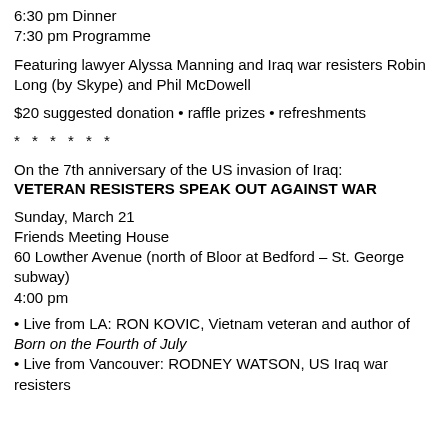6:30 pm Dinner
7:30 pm Programme
Featuring lawyer Alyssa Manning and Iraq war resisters Robin Long (by Skype) and Phil McDowell
$20 suggested donation • raffle prizes • refreshments
* * * * * *
On the 7th anniversary of the US invasion of Iraq: VETERAN RESISTERS SPEAK OUT AGAINST WAR
Sunday, March 21
Friends Meeting House
60 Lowther Avenue (north of Bloor at Bedford – St. George subway)
4:00 pm
• Live from LA: RON KOVIC, Vietnam veteran and author of Born on the Fourth of July
• Live from Vancouver: RODNEY WATSON, US Iraq war resisters